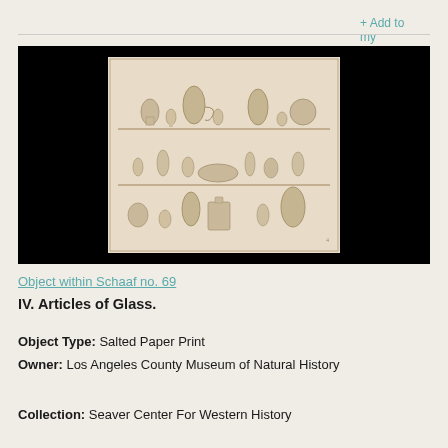+ Add to my favourites
[Figure (photo): Sepia-toned photograph of glassware arranged on three shelves, showing various decanters, goblets, and glass bowls against a dark background. Displayed as a white-bordered print on a black background.]
Object within Schaaf no. 69
IV. Articles of Glass.
Object Type: Salted Paper Print
Owner: Los Angeles County Museum of Natural History
Collection: Seaver Center For Western History